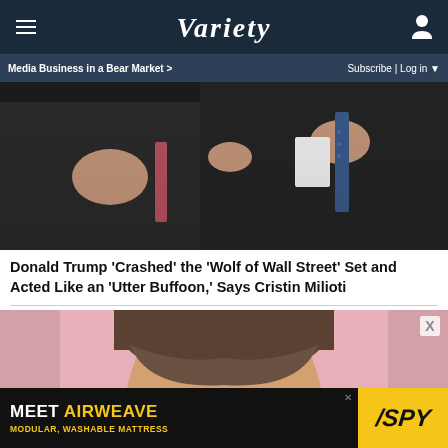VARIETY
Media Business in a Bear Market >
Subscribe | Log in
[Figure (photo): Two men in dark suits seen from behind/side, one with hand on other's shoulder, both wearing ties]
Donald Trump 'Crashed' the 'Wolf of Wall Street' Set and Acted Like an 'Utter Buffoon,' Says Cristin Milioti
[Figure (photo): Close-up portrait of a woman with dark hair and bangs against a pink background — Cristin Milioti]
MEET AIRWEAVE MODULAR, WASHABLE MATTRESS / SPY